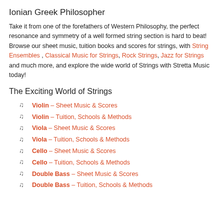Ionian Greek Philosopher
Take it from one of the forefathers of Western Philosophy, the perfect resonance and symmetry of a well formed string section is hard to beat! Browse our sheet music, tuition books and scores for strings, with String Ensembles , Classical Music for Strings, Rock Strings, Jazz for Strings and much more, and explore the wide world of Strings with Stretta Music today!
The Exciting World of Strings
Violin – Sheet Music & Scores
Violin – Tuition, Schools & Methods
Viola – Sheet Music & Scores
Viola – Tuition, Schools & Methods
Cello – Sheet Music & Scores
Cello – Tuition, Schools & Methods
Double Bass – Sheet Music & Scores
Double Bass – Tuition, Schools & Methods